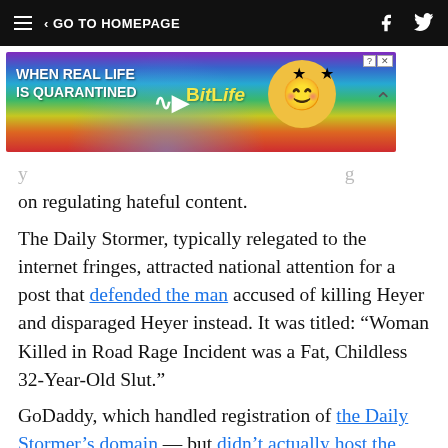GO TO HOMEPAGE
[Figure (screenshot): BitLife mobile game advertisement banner with rainbow background]
on regulating hateful content.
The Daily Stormer, typically relegated to the internet fringes, attracted national attention for a post that defended the man accused of killing Heyer and disparaged Heyer instead. It was titled: “Woman Killed in Road Rage Incident was a Fat, Childless 32-Year-Old Slut.”
GoDaddy, which handled registration of the Daily Stormer’s domain — but didn’t actually host the website’s content — cut ties with the site shortly